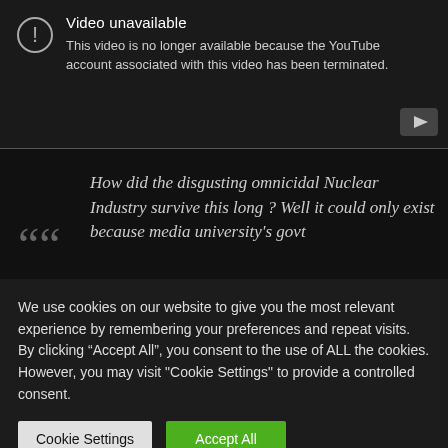[Figure (screenshot): YouTube video unavailable error screen with exclamation icon, title 'Video unavailable', and message 'This video is no longer available because the YouTube account associated with this video has been terminated.' with YouTube play button logo in bottom right.]
How did the disgusting omnicidal Nuclear Industry survive this long ? Well it could only exist because media university's govt
We use cookies on our website to give you the most relevant experience by remembering your preferences and repeat visits. By clicking “Accept All”, you consent to the use of ALL the cookies. However, you may visit "Cookie Settings" to provide a controlled consent.